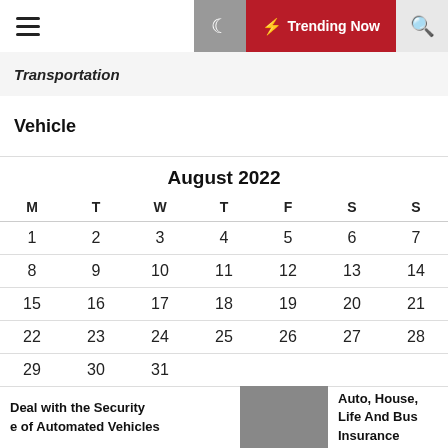Transportation | Vehicle | ⚡ Trending Now
Transportation
Vehicle
| M | T | W | T | F | S | S |
| --- | --- | --- | --- | --- | --- | --- |
| 1 | 2 | 3 | 4 | 5 | 6 | 7 |
| 8 | 9 | 10 | 11 | 12 | 13 | 14 |
| 15 | 16 | 17 | 18 | 19 | 20 | 21 |
| 22 | 23 | 24 | 25 | 26 | 27 | 28 |
| 29 | 30 | 31 |  |  |  |  |
Deal with the Security of Automated Vehicles
Auto, House, Life And Bus Insurance